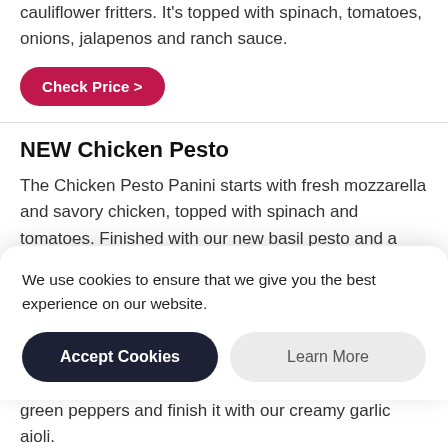cauliflower fritters. It's topped with spinach, tomatoes, onions, jalapenos and ranch sauce.
Check Price >
NEW Chicken Pesto
The Chicken Pesto Panini starts with fresh mozzarella and savory chicken, topped with spinach and tomatoes. Finished with our new basil pesto and a sprinkle of parmesan cheese, all grilled on ciabatta bread.
Check Price >
Garlic Steak & Provolone
We use cookies to ensure that we give you the best experience on our website.
Accept Cookies
Learn More
green peppers and finish it with our creamy garlic aioli.